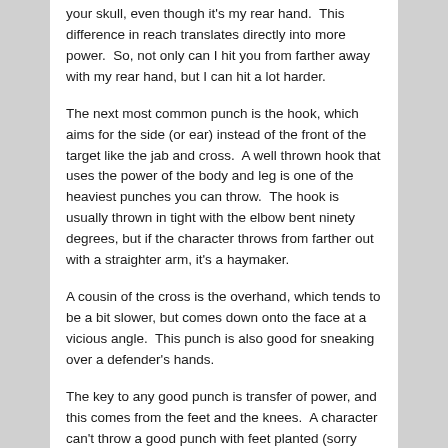your skull, even though it's my rear hand.  This difference in reach translates directly into more power.  So, not only can I hit you from farther away with my rear hand, but I can hit a lot harder.
The next most common punch is the hook, which aims for the side (or ear) instead of the front of the target like the jab and cross.  A well thrown hook that uses the power of the body and leg is one of the heaviest punches you can throw.  The hook is usually thrown in tight with the elbow bent ninety degrees, but if the character throws from farther out with a straighter arm, it's a haymaker.
A cousin of the cross is the overhand, which tends to be a bit slower, but comes down onto the face at a vicious angle.  This punch is also good for sneaking over a defender's hands.
The key to any good punch is transfer of power, and this comes from the feet and the knees.  A character can't throw a good punch with feet planted (sorry traditional